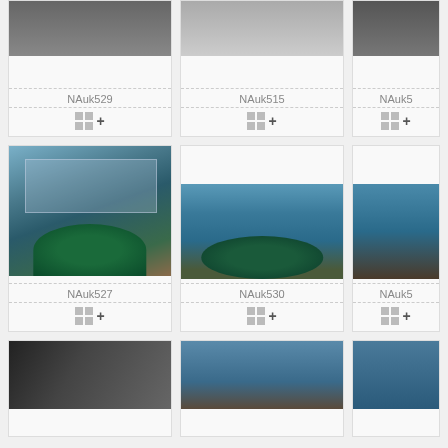[Figure (screenshot): Photo grid / image browser UI showing architecture photos labeled NAuk529, NAuk515, NAuk5x (partial)]
NAuk529
NAuk515
NAuk5
[Figure (photo): Architectural photo of modern building with circular fountain/pool, glass facade - NAuk527]
NAuk527
[Figure (photo): Architectural photo of modern building with circular fountain/pool, blue glass facade - NAuk530]
NAuk530
NAuk5
[Figure (photo): Partial architectural photo at bottom - angled glass/steel structure]
[Figure (photo): Partial architectural photo at bottom - circular pool/fountain]
[Figure (photo): Partial architectural photo at bottom right]